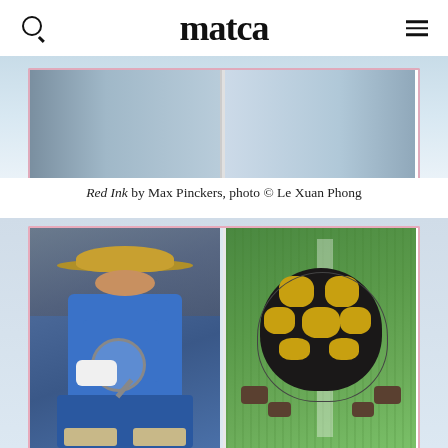matca (logo with search and menu icons)
[Figure (photo): Top portion of an open book with pink/red border visible, showing photographic pages with blue tones, displayed against a light blue-white background.]
Red Ink by Max Pinckers, photo © Le Xuan Phong
[Figure (photo): An open book with pink border showing two photographs: left page shows a man in blue clothing and straw hat crouching and holding a magnifying glass; right page shows a tortoise viewed from above on green grass.]